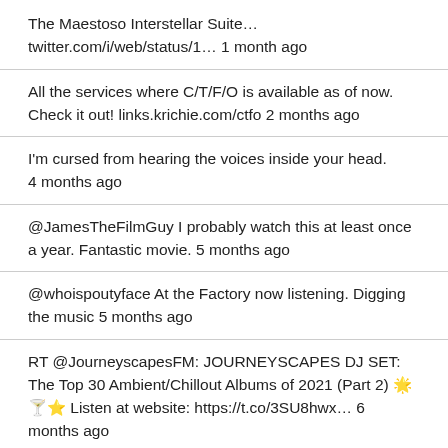The Maestoso Interstellar Suite… twitter.com/i/web/status/1… 1 month ago
All the services where C/T/F/O is available as of now. Check it out! links.krichie.com/ctfo 2 months ago
I'm cursed from hearing the voices inside your head. 4 months ago
@JamesTheFilmGuy I probably watch this at least once a year. Fantastic movie. 5 months ago
@whoispoutyface At the Factory now listening. Digging the music 5 months ago
RT @JourneyscapesFM: JOURNEYSCAPES DJ SET: The Top 30 Ambient/Chillout Albums of 2021 (Part 2) 🌟🍸⭐ Listen at website: https://t.co/3SU8hwx… 6 months ago